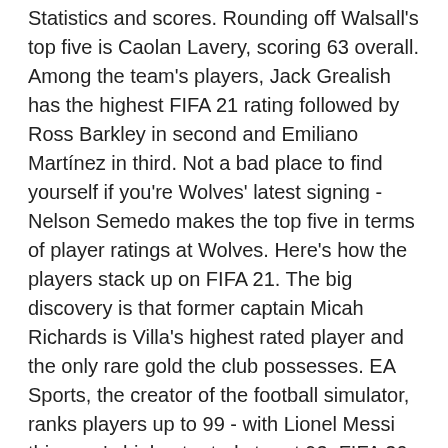Statistics and scores. Rounding off Walsall's top five is Caolan Lavery, scoring 63 overall. Among the team's players, Jack Grealish has the highest FIFA 21 rating followed by Ross Barkley in second and Emiliano Martínez in third. Not a bad place to find yourself if you're Wolves' latest signing - Nelson Semedo makes the top five in terms of player ratings at Wolves. Here's how the players stack up on FIFA 21. The big discovery is that former captain Micah Richards is Villa's highest rated player and the only rare gold the club possesses. EA Sports, the creator of the football simulator, ranks players up to 99 - with Lionel Messi this year's highest rated star at 93. FIFA 20: ASTON VILLA Player Faces (PS4/XBOX ONE) - Duration: ... ALL 3 PROMOTED PREMIER LEAGUE TEAM RATINGS!! Marvelous Nakamba - 76. He could be a busy man this season, so we may see this rating climb higher if he makes the regular team of the week on the video game. You can unsubscribe at any time. Other notable ones are